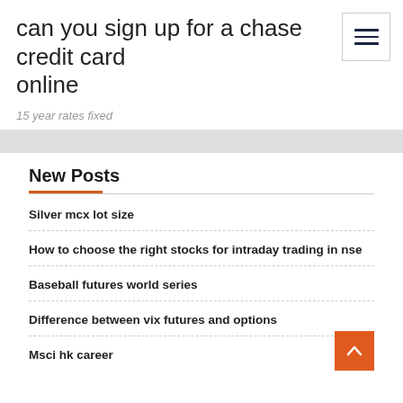can you sign up for a chase credit card online
15 year rates fixed
New Posts
Silver mcx lot size
How to choose the right stocks for intraday trading in nse
Baseball futures world series
Difference between vix futures and options
Msci hk career